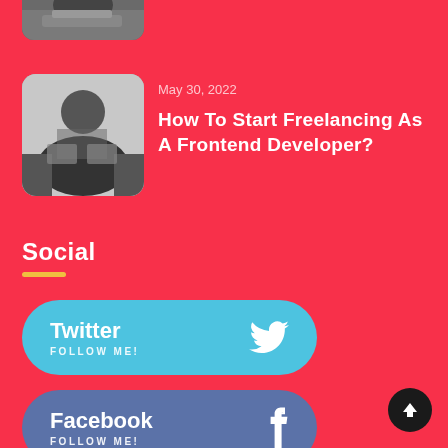[Figure (photo): Partial top image strip showing a person working at a laptop]
[Figure (photo): Thumbnail image of a person working at a desk with a laptop, viewed from above]
May 30, 2022
How To Start Freelancing As A Frontend Developer?
Social
[Figure (infographic): Twitter follow button with Twitter bird icon and text FOLLOW ME!]
[Figure (infographic): Facebook follow button with Facebook f icon and text FOLLOW ME!]